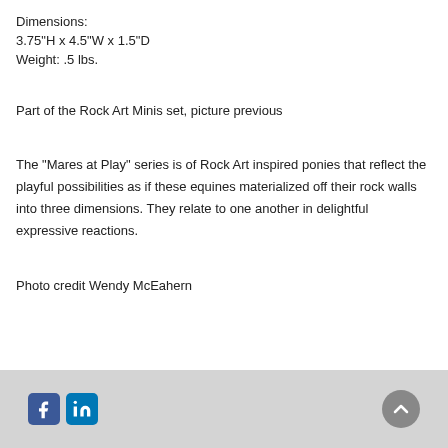Dimensions:
3.75"H x 4.5"W x 1.5"D
Weight:  .5 lbs.
Part of the Rock Art Minis set, picture previous
The "Mares at Play" series is of Rock Art inspired ponies that reflect the playful possibilities as if these equines materialized off their rock walls into three dimensions. They relate to one another in delightful expressive reactions.
Photo credit Wendy McEahern
Facebook LinkedIn scroll-to-top